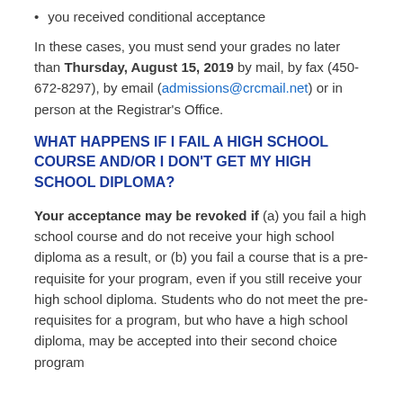you received conditional acceptance
In these cases, you must send your grades no later than Thursday, August 15, 2019 by mail, by fax (450-672-8297), by email (admissions@crcmail.net) or in person at the Registrar's Office.
WHAT HAPPENS IF I FAIL A HIGH SCHOOL COURSE AND/OR I DON'T GET MY HIGH SCHOOL DIPLOMA?
Your acceptance may be revoked if (a) you fail a high school course and do not receive your high school diploma as a result, or (b) you fail a course that is a pre-requisite for your program, even if you still receive your high school diploma. Students who do not meet the pre-requisites for a program, but who have a high school diploma, may be accepted into their second choice program